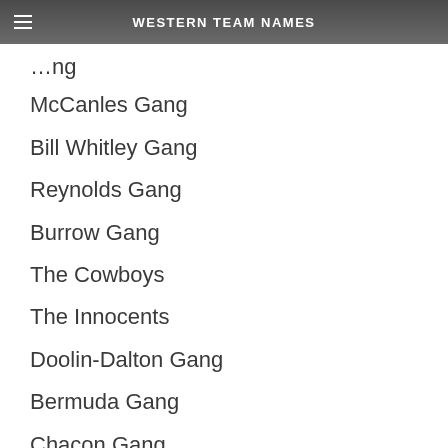WESTERN TEAM NAMES
McCanles Gang
Bill Whitley Gang
Reynolds Gang
Burrow Gang
The Cowboys
The Innocents
Doolin-Dalton Gang
Bermuda Gang
Chacon Gang
Bummers Gang